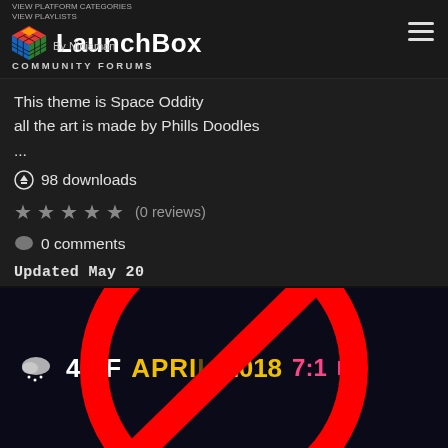VIEW PLATFORM CATEGORIES
VIEW PLAYLISTS
LaunchBox
By Ninjaman
COMMUNITY FORUMS
This theme is Space Oddity
all the art is made by Phills Doodles
...
98 downloads
★★★★★ (0 reviews)
0 comments
Updated May 20
[Figure (screenshot): Screenshot showing a weather widget with temperature 40°F, date APRIL 2018, time 7:1 PM, overlaid with a large red prohibition/no symbol (circle with diagonal bar)]